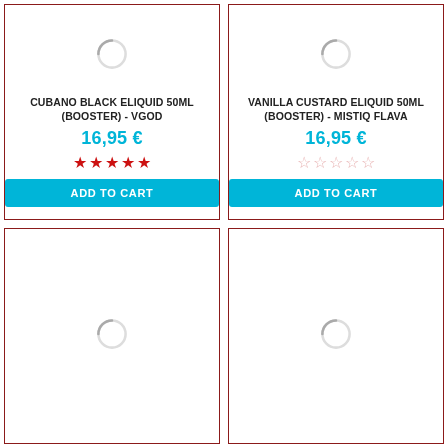[Figure (illustration): Loading spinner icon (grey crescent circle) for product image placeholder]
CUBANO BLACK ELIQUID 50ML (BOOSTER) - VGOD
16,95 €
★★★★★ (4 filled stars, 1 empty)
ADD TO CART
[Figure (illustration): Loading spinner icon (grey crescent circle) for product image placeholder]
VANILLA CUSTARD ELIQUID 50ML (BOOSTER) - MISTIQ FLAVA
16,95 €
☆☆☆☆☆ (5 empty stars)
ADD TO CART
[Figure (illustration): Loading spinner icon (grey crescent circle) for product image placeholder - bottom left card]
[Figure (illustration): Loading spinner icon (grey crescent circle) for product image placeholder - bottom right card]